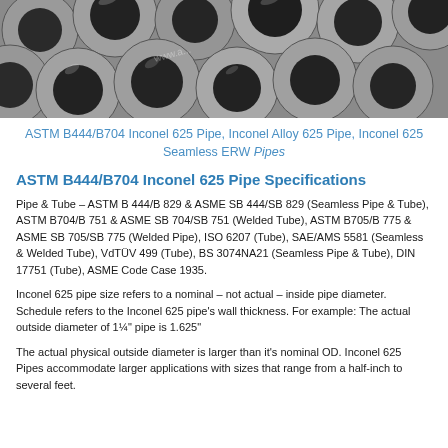[Figure (photo): Photograph of multiple stainless/nickel alloy pipes (Inconel 625) viewed from the end, showing circular hollow cross-sections arranged in rows, gray metallic color with a watermark 'www.aesteiron.com' visible.]
ASTM B444/B704 Inconel 625 Pipe, Inconel Alloy 625 Pipe, Inconel 625 Seamless ERW Pipes
ASTM B444/B704 Inconel 625 Pipe Specifications
Pipe & Tube – ASTM B 444/B 829 & ASME SB 444/SB 829 (Seamless Pipe & Tube), ASTM B704/B 751 & ASME SB 704/SB 751 (Welded Tube), ASTM B705/B 775 & ASME SB 705/SB 775 (Welded Pipe), ISO 6207 (Tube), SAE/AMS 5581 (Seamless & Welded Tube), VdTÜV 499 (Tube), BS 3074NA21 (Seamless Pipe & Tube), DIN 17751 (Tube), ASME Code Case 1935.
Inconel 625 pipe size refers to a nominal – not actual – inside pipe diameter. Schedule refers to the Inconel 625 pipe's wall thickness. For example: The actual outside diameter of 1¼" pipe is 1.625"
The actual physical outside diameter is larger than it's nominal OD. Inconel 625 Pipes accommodate larger applications with sizes that range from a half-inch to several feet.